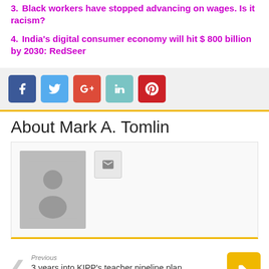3. Black workers have stopped advancing on wages. Is it racism?
4. India's digital consumer economy will hit $ 800 billion by 2030: RedSeer
[Figure (other): Row of social sharing buttons: Facebook (dark blue), Twitter (light blue), Google+ (orange-red), LinkedIn (teal), Pinterest (red)]
About Mark A. Tomlin
[Figure (photo): Default grey avatar/profile placeholder image with silhouette of a person]
Previous
3 years into KIPP's teacher pipeline plan, students are thriving